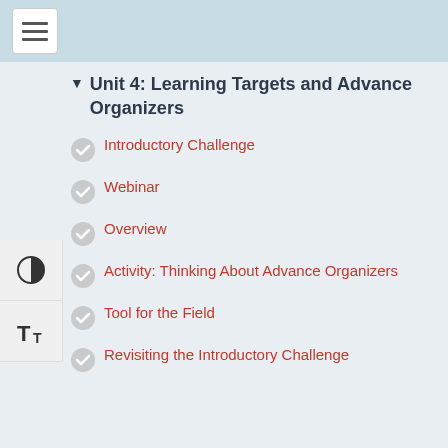Unit 4: Learning Targets and Advance Organizers
Introductory Challenge
Webinar
Overview
Activity: Thinking About Advance Organizers
Tool for the Field
Revisiting the Introductory Challenge